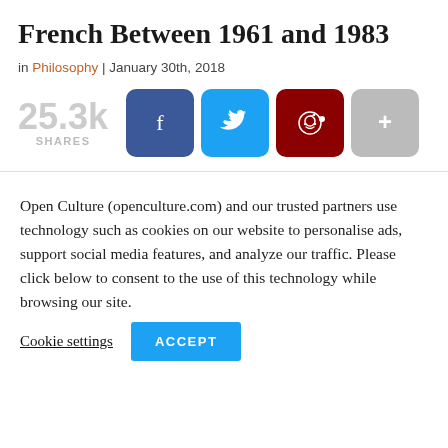French Between 1961 and 1983
in Philosophy | January 30th, 2018
[Figure (infographic): Share count showing 25.3k shares with social media buttons: Facebook (blue), Twitter (cyan), Reddit (dark red), and a grey more button with plus sign]
Open Culture (openculture.com) and our trusted partners use technology such as cookies on our website to personalise ads, support social media features, and analyze our traffic. Please click below to consent to the use of this technology while browsing our site.
Cookie settings  ACCEPT